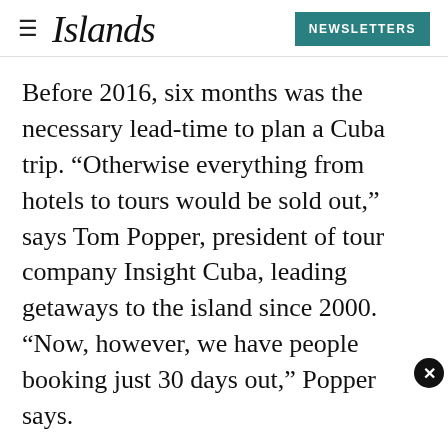Islands — NEWSLETTERS
Before 2016, six months was the necessary lead-time to plan a Cuba trip. “Otherwise everything from hotels to tours would be sold out,” says Tom Popper, president of tour company Insight Cuba, leading getaways to the island since 2000. “Now, however, we have people booking just 30 days out,” Popper says.
ADVERTISEMENT
Of course, if you are hoping to jet off for a